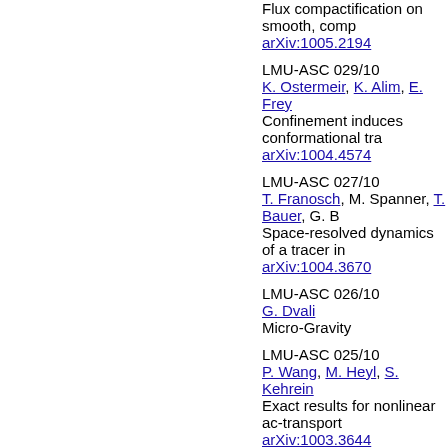Flux compactification on smooth, comp…
arXiv:1005.2194
LMU-ASC 029/10
K. Ostermeir, K. Alim, E. Frey
Confinement induces conformational tra…
arXiv:1004.4574
LMU-ASC 027/10
T. Franosch, M. Spanner, T. Bauer, G. B…
Space-resolved dynamics of a tracer in…
arXiv:1004.3670
LMU-ASC 026/10
G. Dvali
Micro-Gravity
LMU-ASC 025/10
P. Wang, M. Heyl, S. Kehrein
Exact results for nonlinear ac-transport…
arXiv:1003.3644
LMU-ASC 024/10
J. Rech, S. Kehrein
Measurement back-action on adiabatic…